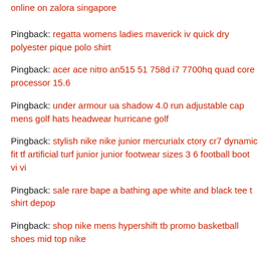Pingback: online on zalora singapore
Pingback: regatta womens ladies maverick iv quick dry polyester pique polo shirt
Pingback: acer ace nitro an515 51 758d i7 7700hq quad core processor 15.6
Pingback: under armour ua shadow 4.0 run adjustable cap mens golf hats headwear hurricane golf
Pingback: stylish nike nike junior mercurialx ctory cr7 dynamic fit tf artificial turf junior junior footwear sizes 3 6 football boot vi vi
Pingback: sale rare bape a bathing ape white and black tee t shirt depop
Pingback: shop nike mens hypershift tb promo basketball shoes mid top nike